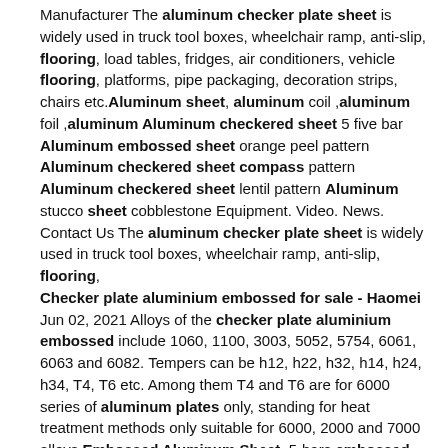Manufacturer The aluminum checker plate sheet is widely used in truck tool boxes, wheelchair ramp, anti-slip, flooring, load tables, fridges, air conditioners, vehicle flooring, platforms, pipe packaging, decoration strips, chairs etc.Aluminum sheet, aluminum coil ,aluminum foil ,aluminum Aluminum checkered sheet 5 five bar Aluminum embossed sheet orange peel pattern Aluminum checkered sheet compass pattern Aluminum checkered sheet lentil pattern Aluminum stucco sheet cobblestone Equipment. Video. News. Contact Us The aluminum checker plate sheet is widely used in truck tool boxes, wheelchair ramp, anti-slip, flooring,
Checker plate aluminium embossed for sale - Haomei Jun 02, 2021 Alloys of the checker plate aluminium embossed include 1060, 1100, 3003, 5052, 5754, 6061, 6063 and 6082. Tempers can be h12, h22, h32, h14, h24, h34, T4, T6 etc. Among them T4 and T6 are for 6000 series of aluminum plates only, standing for heat treatment methods only suitable for 6000, 2000 and 7000 alloys.Embossed Aluminum Sheet_5-bars embossed aluminum sheet Embossed aluminum plate. embossed aluminum plate means medium thick embossed aluminum plate with thickness between 6.0-200mm. The embossed aluminum plate can also be called aluminum embossed plate. It belongs to aluminum products based on aluminum plates and formed with